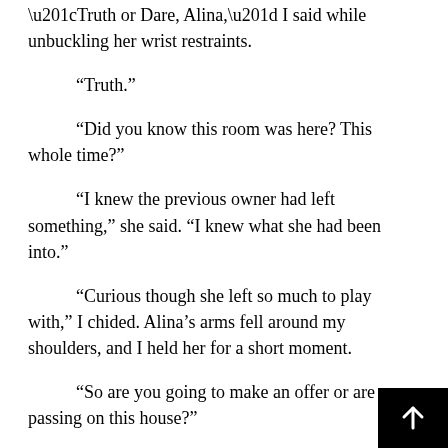“Truth or Dare, Alina,” I said while unbuckling her wrist restraints.
“Truth.”
“Did you know this room was here? This whole time?”
“I knew the previous owner had left something,” she said. “I knew what she had been into.”
“Curious though she left so much to play with,” I chided. Alina’s arms fell around my shoulders, and I held her for a short moment.
“So are you going to make an offer or are you passing on this house?”